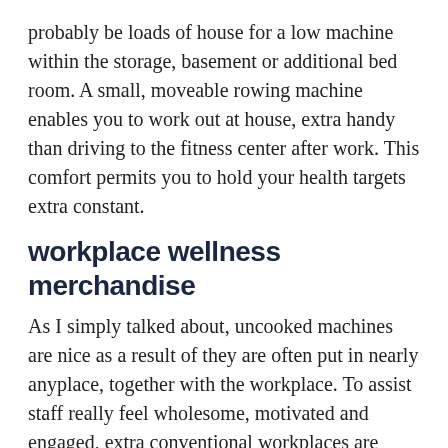probably be loads of house for a low machine within the storage, basement or additional bed room. A small, moveable rowing machine enables you to work out at house, extra handy than driving to the fitness center after work. This comfort permits you to hold your health targets extra constant.
workplace wellness merchandise
As I simply talked about, uncooked machines are nice as a result of they are often put in nearly anyplace, together with the workplace. To assist staff really feel wholesome, motivated and engaged, extra conventional workplaces are turning to train gear and workplace wellness merchandise for his or her bodily and psychological advantages. Along with rowing machines, some workplaces additionally incorporate different workplace wellness merchandise similar to standing desks, desk treadmills, or bike desks, making it extra light for the persons on the premise to